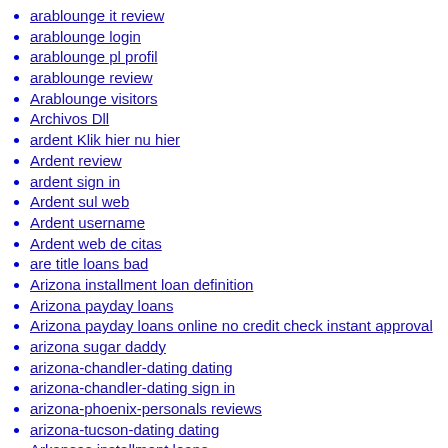arablounge it review
arablounge login
arablounge pl profil
arablounge review
Arablounge visitors
Archivos Dll
ardent Klik hier nu hier
Ardent review
ardent sign in
Ardent sul web
Ardent username
Ardent web de citas
are title loans bad
Arizona installment loan definition
Arizona payday loans
Arizona payday loans online no credit check instant approval
arizona sugar daddy
arizona-chandler-dating dating
arizona-chandler-dating sign in
arizona-phoenix-personals reviews
arizona-tucson-dating dating
Arkansas installment loans
Arkansas payday loans online no credit check instant